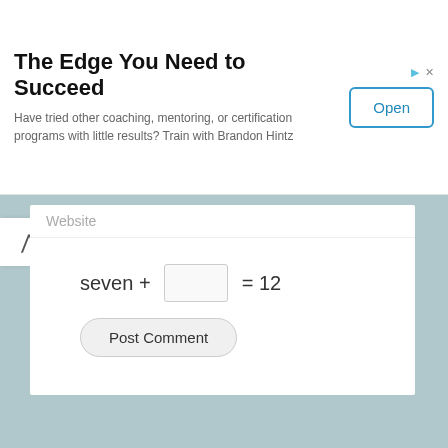The Edge You Need to Succeed
Have tried other coaching, mentoring, or certification programs with little results? Train with Brandon Hintz
Website
Post Comment
Search this website…
Learn Advanced Analytics
Register Today